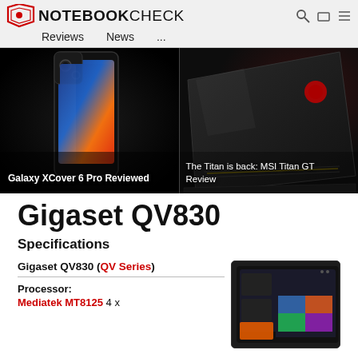NOTEBOOKCHECK — Reviews  News  ...
[Figure (screenshot): Two hero images side by side: left shows Galaxy XCover 6 Pro phone on dark background, right shows MSI Titan GT laptop on dark background]
Galaxy XCover 6 Pro Reviewed
The Titan is back: MSI Titan GT Review
Gigaset QV830
Specifications
Gigaset QV830 (QV Series)
Processor: Mediatek MT8125 4 x
[Figure (photo): Gigaset QV830 tablet shown from front, displaying a home screen with colorful widgets on a dark background]